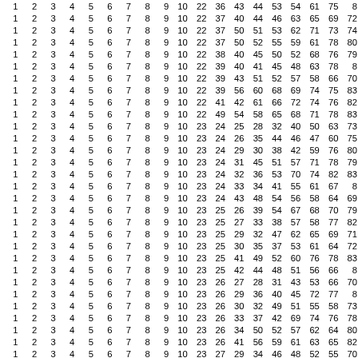| 1 | 2 | 3 | 4 | 5 | 6 | 7 | 8 | 9 | 10 | 22 | 36 | 43 | 44 | 53 | 54 | 61 | 75 | 8 |
| 1 | 2 | 3 | 4 | 5 | 6 | 7 | 8 | 9 | 10 | 22 | 37 | 40 | 44 | 46 | 63 | 65 | 69 | 72 |
| 1 | 2 | 3 | 4 | 5 | 6 | 7 | 8 | 9 | 10 | 22 | 37 | 50 | 51 | 53 | 62 | 71 | 73 | 74 |
| 1 | 2 | 3 | 4 | 5 | 6 | 7 | 8 | 9 | 10 | 22 | 37 | 50 | 52 | 55 | 59 | 61 | 78 | 80 |
| 1 | 2 | 3 | 4 | 5 | 6 | 7 | 8 | 9 | 10 | 22 | 38 | 40 | 45 | 50 | 52 | 68 | 76 | 79 |
| 1 | 2 | 3 | 4 | 5 | 6 | 7 | 8 | 9 | 10 | 22 | 39 | 40 | 41 | 45 | 48 | 63 | 78 | 8 |
| 1 | 2 | 3 | 4 | 5 | 6 | 7 | 8 | 9 | 10 | 22 | 39 | 43 | 51 | 52 | 57 | 58 | 66 | 70 |
| 1 | 2 | 3 | 4 | 5 | 6 | 7 | 8 | 9 | 10 | 22 | 39 | 56 | 60 | 68 | 69 | 74 | 75 | 83 |
| 1 | 2 | 3 | 4 | 5 | 6 | 7 | 8 | 9 | 10 | 22 | 41 | 42 | 61 | 66 | 72 | 74 | 76 | 82 |
| 1 | 2 | 3 | 4 | 5 | 6 | 7 | 8 | 9 | 10 | 22 | 49 | 54 | 58 | 65 | 68 | 71 | 78 | 83 |
| 1 | 2 | 3 | 4 | 5 | 6 | 7 | 8 | 9 | 10 | 23 | 24 | 25 | 28 | 32 | 40 | 50 | 63 | 73 |
| 1 | 2 | 3 | 4 | 5 | 6 | 7 | 8 | 9 | 10 | 23 | 24 | 26 | 35 | 44 | 46 | 47 | 60 | 75 |
| 1 | 2 | 3 | 4 | 5 | 6 | 7 | 8 | 9 | 10 | 23 | 24 | 29 | 30 | 38 | 42 | 59 | 76 | 80 |
| 1 | 2 | 3 | 4 | 5 | 6 | 7 | 8 | 9 | 10 | 23 | 24 | 31 | 45 | 51 | 57 | 71 | 78 | 79 |
| 1 | 2 | 3 | 4 | 5 | 6 | 7 | 8 | 9 | 10 | 23 | 24 | 32 | 36 | 53 | 70 | 74 | 82 | 83 |
| 1 | 2 | 3 | 4 | 5 | 6 | 7 | 8 | 9 | 10 | 23 | 24 | 33 | 34 | 41 | 55 | 61 | 67 | 8 |
| 1 | 2 | 3 | 4 | 5 | 6 | 7 | 8 | 9 | 10 | 23 | 24 | 43 | 48 | 54 | 56 | 58 | 64 | 69 |
| 1 | 2 | 3 | 4 | 5 | 6 | 7 | 8 | 9 | 10 | 23 | 25 | 26 | 39 | 54 | 67 | 68 | 70 | 79 |
| 1 | 2 | 3 | 4 | 5 | 6 | 7 | 8 | 9 | 10 | 23 | 25 | 27 | 33 | 38 | 57 | 58 | 77 | 82 |
| 1 | 2 | 3 | 4 | 5 | 6 | 7 | 8 | 9 | 10 | 23 | 25 | 29 | 32 | 47 | 62 | 65 | 69 | 71 |
| 1 | 2 | 3 | 4 | 5 | 6 | 7 | 8 | 9 | 10 | 23 | 25 | 30 | 35 | 37 | 53 | 61 | 64 | 72 |
| 1 | 2 | 3 | 4 | 5 | 6 | 7 | 8 | 9 | 10 | 23 | 25 | 41 | 49 | 52 | 60 | 76 | 78 | 83 |
| 1 | 2 | 3 | 4 | 5 | 6 | 7 | 8 | 9 | 10 | 23 | 25 | 42 | 44 | 48 | 51 | 56 | 66 | 8 |
| 1 | 2 | 3 | 4 | 5 | 6 | 7 | 8 | 9 | 10 | 23 | 26 | 27 | 28 | 31 | 43 | 53 | 66 | 70 |
| 1 | 2 | 3 | 4 | 5 | 6 | 7 | 8 | 9 | 10 | 23 | 26 | 29 | 36 | 40 | 45 | 72 | 77 | 8 |
| 1 | 2 | 3 | 4 | 5 | 6 | 7 | 8 | 9 | 10 | 23 | 26 | 30 | 32 | 49 | 51 | 55 | 58 | 73 |
| 1 | 2 | 3 | 4 | 5 | 6 | 7 | 8 | 9 | 10 | 23 | 26 | 33 | 37 | 42 | 69 | 74 | 76 | 78 |
| 1 | 2 | 3 | 4 | 5 | 6 | 7 | 8 | 9 | 10 | 23 | 26 | 34 | 50 | 52 | 57 | 62 | 64 | 80 |
| 1 | 2 | 3 | 4 | 5 | 6 | 7 | 8 | 9 | 10 | 23 | 26 | 41 | 56 | 59 | 61 | 63 | 65 | 82 |
| 1 | 2 | 3 | 4 | 5 | 6 | 7 | 8 | 9 | 10 | 23 | 27 | 29 | 34 | 46 | 48 | 52 | 55 | 70 |